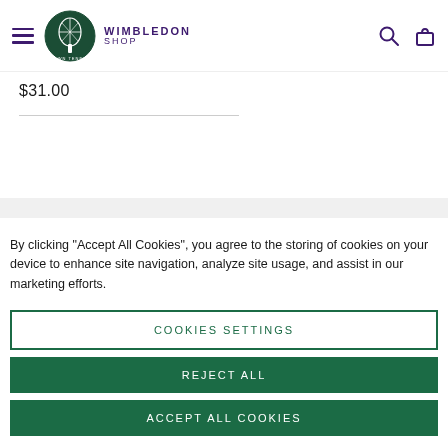[Figure (logo): Wimbledon Shop logo with circular green badge and purple text reading WIMBLEDON SHOP]
$31.00
By clicking "Accept All Cookies", you agree to the storing of cookies on your device to enhance site navigation, analyze site usage, and assist in our marketing efforts.
COOKIES SETTINGS
REJECT ALL
ACCEPT ALL COOKIES